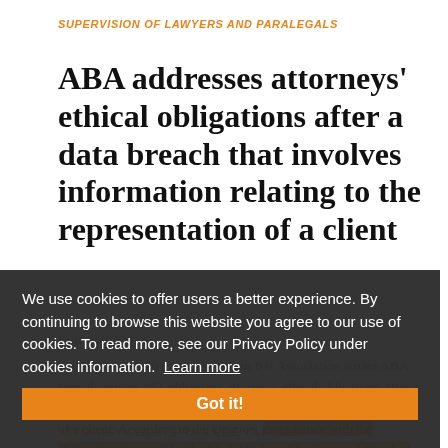SUPERVISION OF LAWYERS AND PARALEGALS
ABA addresses attorneys' ethical obligations after a data breach that involves information relating to the representation of a client
Date 10/17/2018
On October 17, 2018, the American Bar Association issued ABA formal opinion 483 addressing attorneys' ethical obligations after a data breach that involves information relating to the representation of a client. According to the Opinion, compliance with the obligations imposed by the Model Rules of Professional Conduct depends on the nature of the [...]
We use cookies to offer users a better experience. By continuing to browse this website you agree to our use of cookies. To read more, see our Privacy Policy under cookies information. Learn more
Got it!
ATTORNEY-CLIENT PRIVILEGE, CLIENT FILES